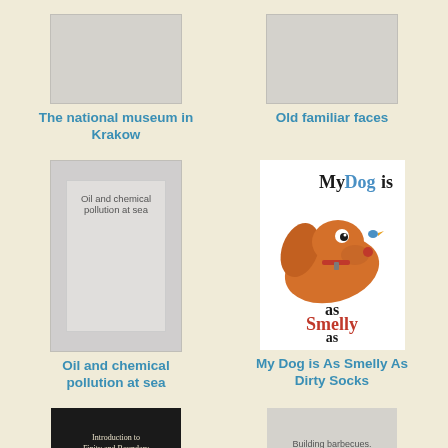[Figure (photo): Book cover placeholder for The national museum in Krakow]
The national museum in Krakow
[Figure (photo): Book cover placeholder for Old familiar faces]
Old familiar faces
[Figure (illustration): Book cover with inner placeholder showing text: Oil and chemical pollution at sea]
Oil and chemical pollution at sea
[Figure (illustration): Book cover for My Dog is As Smelly As Dirty Socks, featuring cartoon dachshund dog illustration]
My Dog is As Smelly As Dirty Socks
[Figure (photo): Book cover for Introduction to Finity and Boundary, black cover with white text]
Introduction to Finity and Boundary
[Figure (photo): Book cover placeholder with text: Building barbecues.]
Building barbecues.